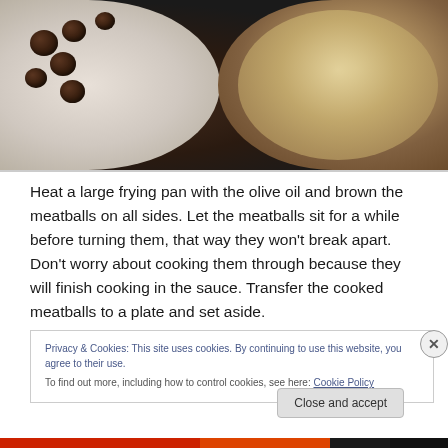[Figure (photo): Photo of cooked meatballs on a white plate on the left, and a frying pan with liquid/sauce on the right, both on a dark stovetop surface.]
Heat a large frying pan with the olive oil and brown the meatballs on all sides. Let the meatballs sit for a while before turning them, that way they won't break apart. Don't worry about cooking them through because they will finish cooking in the sauce. Transfer the cooked meatballs to a plate and set aside.
Privacy & Cookies: This site uses cookies. By continuing to use this website, you agree to their use.
To find out more, including how to control cookies, see here: Cookie Policy
Close and accept